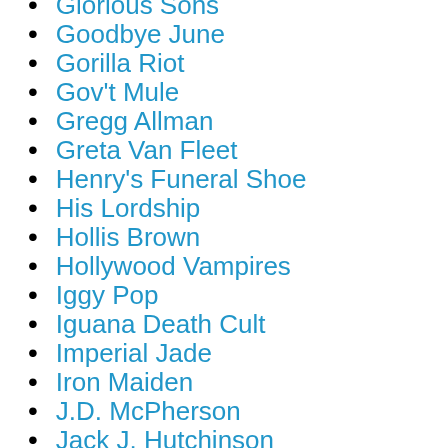Glorious Sons
Goodbye June
Gorilla Riot
Gov't Mule
Gregg Allman
Greta Van Fleet
Henry's Funeral Shoe
His Lordship
Hollis Brown
Hollywood Vampires
Iggy Pop
Iguana Death Cult
Imperial Jade
Iron Maiden
J.D. McPherson
Jack J. Hutchinson
Jay Buchanan